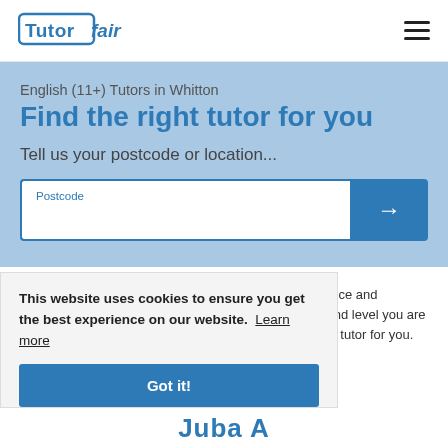[Figure (logo): TutorFair logo — 'Tutor' in bold blue block letters with rounded stroke, 'fair' in italic blue letters]
English (11+) Tutors in Whitton
Find the right tutor for you
Tell us your postcode or location...
Our tutors can help 11+ students improve their confidence and proficiency in English. Search by entering the subject and level you are looking for help with, and your postcode to find the right tutor for you.
This website uses cookies to ensure you get the best experience on our website. Learn more
Got it!
Juba A